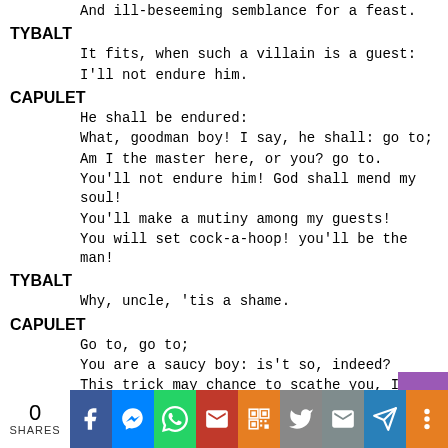And ill-beseeming semblance for a feast.
TYBALT
It fits, when such a villain is a guest:
I'll not endure him.
CAPULET
He shall be endured:
What, goodman boy! I say, he shall: go to;
Am I the master here, or you? go to.
You'll not endure him! God shall mend my soul!
You'll make a mutiny among my guests!
You will set cock-a-hoop! you'll be the man!
TYBALT
Why, uncle, 'tis a shame.
CAPULET
Go to, go to;
You are a saucy boy: is't so, indeed?
This trick may chance to scathe you, I know what:
You must contrary me! marry, 'tis time.
Well, rid...